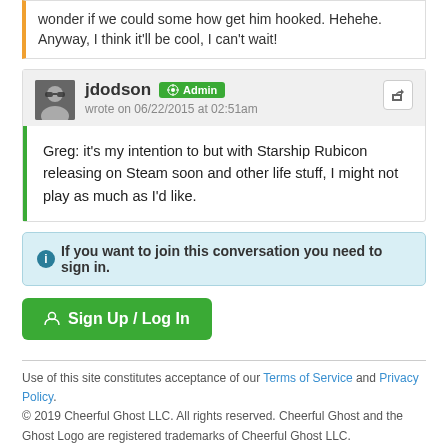wonder if we could some how get him hooked. Hehehe. Anyway, I think it'll be cool, I can't wait!
jdodson Admin
wrote on 06/22/2015 at 02:51am
Greg: it's my intention to but with Starship Rubicon releasing on Steam soon and other life stuff, I might not play as much as I'd like.
If you want to join this conversation you need to sign in.
Sign Up / Log In
Use of this site constitutes acceptance of our Terms of Service and Privacy Policy.
© 2019 Cheerful Ghost LLC. All rights reserved. Cheerful Ghost and the Ghost Logo are registered trademarks of Cheerful Ghost LLC.
Cheerful Ghost is part of the Video Game Webring!